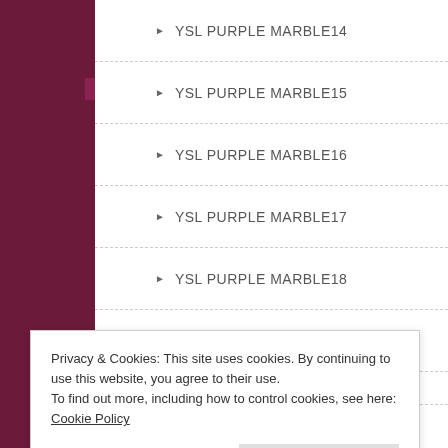YSL PURPLE MARBLE14
YSL PURPLE MARBLE15
YSL PURPLE MARBLE16
YSL PURPLE MARBLE17
YSL PURPLE MARBLE18
YSL PURPLE MARBLE19
YSL PURPLE MARBLE2
YSL PURPLE MARBLE20
YSL PURPLE MARBLE21
YSL PURPLE MARBLE22
Privacy & Cookies: This site uses cookies. By continuing to use this website, you agree to their use.
To find out more, including how to control cookies, see here: Cookie Policy
YSL PURPLE MARBLE4